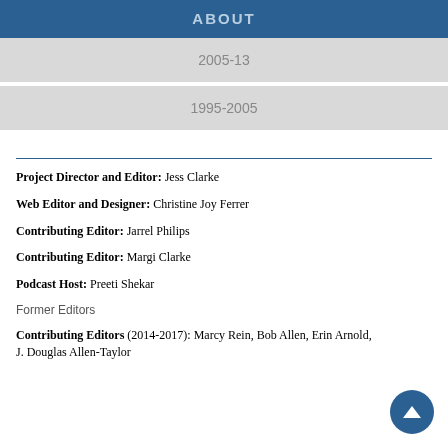ABOUT
2005-13
1995-2005
Project Director and Editor: Jess Clarke
Web Editor and Designer: Christine Joy Ferrer
Contributing Editor: Jarrel Philips
Contributing Editor: Margi Clarke
Podcast Host: Preeti Shekar
Former Editors
Contributing Editors (2014-2017): Marcy Rein, Bob Allen, Erin Arnold, J. Douglas Allen-Taylor